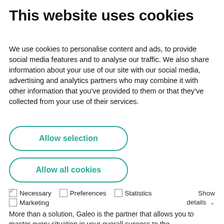This website uses cookies
We use cookies to personalise content and ads, to provide social media features and to analyse our traffic. We also share information about your use of our site with our social media, advertising and analytics partners who may combine it with other information that you've provided to them or that they've collected from your use of their services.
Allow selection
Allow all cookies
✓ Necessary  ☐ Preferences  ☐ Statistics  Show details ˅  ☐ Marketing
More than a solution, Galeo is the partner that allows you to master every situation in your overall success to the